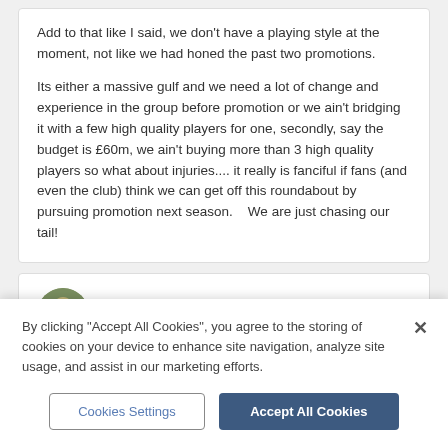Add to that like I said, we don't have a playing style at the moment, not like we had honed the past two promotions.

Its either a massive gulf and we need a lot of change and experience in the group before promotion or we ain't bridging it with a few high quality players for one, secondly, say the budget is £60m, we ain't buying more than 3 high quality players so what about injuries.... it really is fanciful if fans (and even the club) think we can get off this roundabout by pursuing promotion next season.    We are just chasing our tail!
Monty13  +1,144
Posted May 15
By clicking "Accept All Cookies", you agree to the storing of cookies on your device to enhance site navigation, analyze site usage, and assist in our marketing efforts.